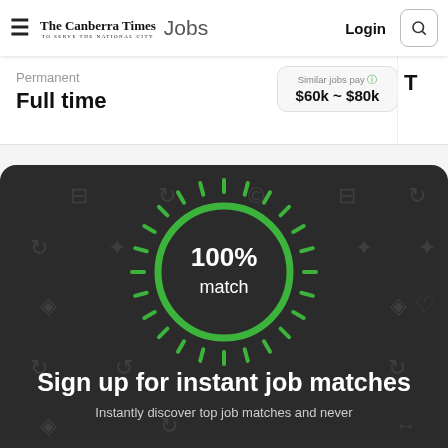The Canberra Times Jobs | Login
Permanent
Full time
Similar jobs pay
$60k ~ $80k
[Figure (infographic): Dark panel with a glowing green 100% match circle with radiating dashes on a dark background with faint job-category icons]
Sign up for instant job matches
Instantly discover top job matches and never